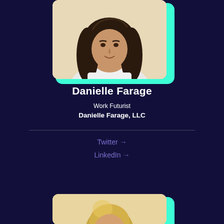[Figure (photo): Headshot photo of Danielle Farage, a woman with long dark wavy hair, wearing a white top, against a light beige background. Photo is in a rounded rectangle frame with a teal offset border.]
Danielle Farage
Work Futurist
Danielle Farage, LLC
Twitter →
LinkedIn →
[Figure (photo): Partial headshot of a second person (blonde hair visible) in a rounded rectangle frame with teal offset border, partially cropped at bottom of page.]